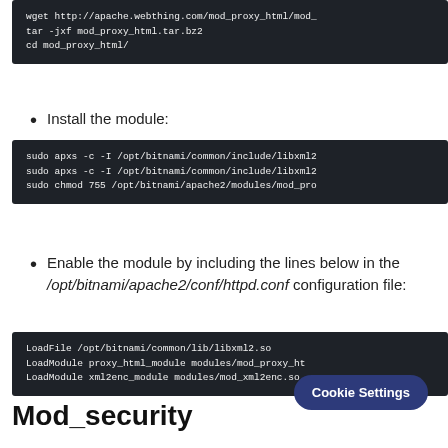[Figure (screenshot): Dark terminal code block showing: wget http://apache.webthing.com/mod_proxy_html/mod_ / tar -jxf mod_proxy_html.tar.bz2 / cd mod_proxy_html/]
Install the module:
[Figure (screenshot): Dark terminal code block showing: sudo apxs -c -I /opt/bitnami/common/include/libxml2 / sudo apxs -c -I /opt/bitnami/common/include/libxml2 / sudo chmod 755 /opt/bitnami/apache2/modules/mod_pro]
Enable the module by including the lines below in the /opt/bitnami/apache2/conf/httpd.conf configuration file:
[Figure (screenshot): Dark terminal code block showing: LoadFile /opt/bitnami/common/lib/libxml2.so / LoadModule proxy_html_module modules/mod_proxy_ht / LoadModule xml2enc_module modules/mod_xml2enc.so]
Mod_security